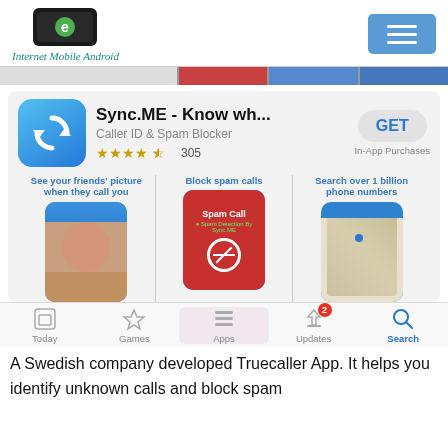[Figure (screenshot): Internet Mobile Android website header with logo, site name in cursive, and hamburger menu button]
[Figure (screenshot): App Store listing for Sync.ME - Know wh... Caller ID & Spam Blocker, 4.5 stars, 305 ratings, GET button with In-App Purchases, and three app screenshots showing: friends picture on call, block spam calls, search over 1 billion phone numbers]
[Figure (screenshot): iOS App Store bottom tab bar with Today, Games, Apps, Updates (badge: 2), and Search (active) tabs]
A Swedish company developed Truecaller App. It helps you identify unknown calls and block spam